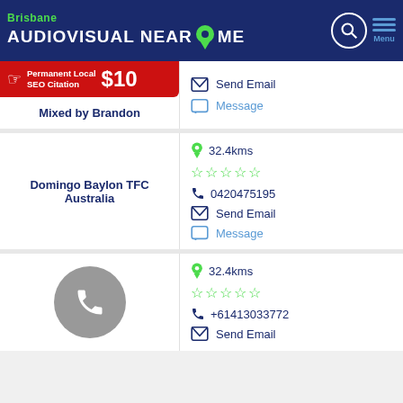Brisbane AUDIOVISUAL NEAR ME
[Figure (infographic): Red banner: Permanent Local SEO Citation $10]
Mixed by Brandon
Send Email
Message
32.4kms
0420475195
Send Email
Message
Domingo Baylon TFC Australia
32.4kms
+61413033772
Send Email